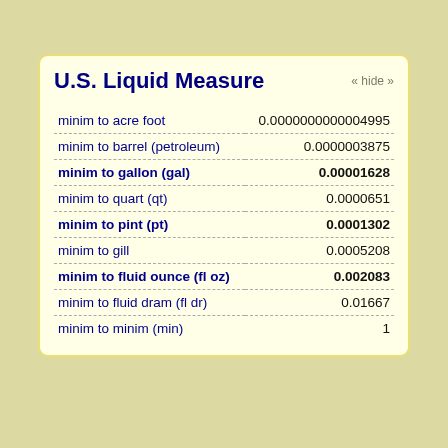U.S. Liquid Measure
| Conversion | Value |
| --- | --- |
| minim to acre foot | 0.0000000000004995 |
| minim to barrel (petroleum) | 0.0000003875 |
| minim to gallon (gal) | 0.00001628 |
| minim to quart (qt) | 0.0000651 |
| minim to pint (pt) | 0.0001302 |
| minim to gill | 0.0005208 |
| minim to fluid ounce (fl oz) | 0.002083 |
| minim to fluid dram (fl dr) | 0.01667 |
| minim to minim (min) | 1 |